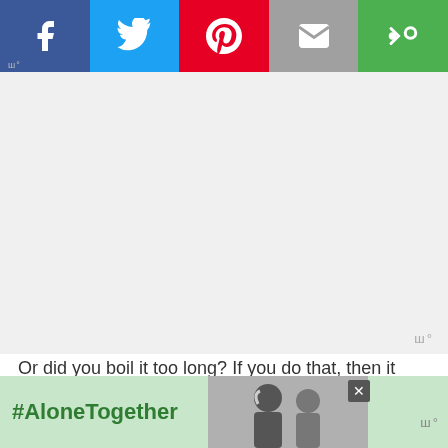[Figure (screenshot): Social share bar with Facebook (blue), Twitter (light blue), Pinterest (red), Email (grey), and More (green) buttons with white icons]
[Figure (photo): Advertisement placeholder area (light grey background)]
Or did you boil it too long? If you do that, then it might separate. I've had this happen a few times.
At first, it seems hopeless but after vigorously mixing, I could get the oil reincorporated. But it's much easier to just not let it boil too long. Set a timer and don't leave it!
Did you stir your peanut butter before
[Figure (screenshot): Scroll to top popup overlay with text 'Scroll to top']
[Figure (screenshot): Bottom advertisement bar with #AloneTogether text in green, a photo of people, a close button, and a watermark logo]